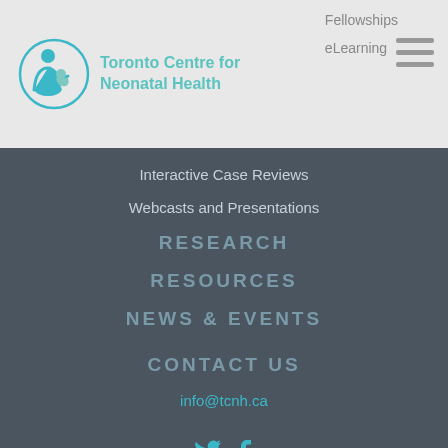[Figure (logo): Toronto Centre for Neonatal Health logo with teal mother and baby icon and teal text]
Fellowships
eLearning
Interactive Case Reviews
Webcasts and Presentations
RESEARCH
RESOURCES
NEWS & EVENTS
CONTACT US
info@tcnh.ca
[Figure (illustration): Twitter and Facebook social media icons in teal]